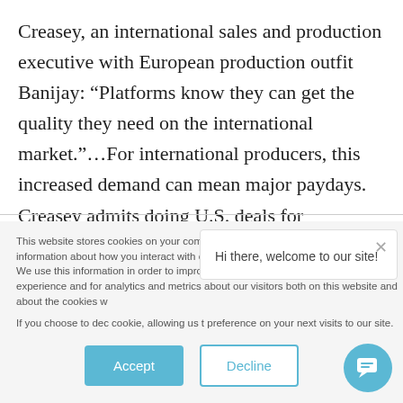Creasey, an international sales and production executive with European production outfit Banijay: “Platforms know they can get the quality they need on the international market.”…For international producers, this increased demand can mean major paydays. Creasey admits doing U.S. deals for
This website stores cookies on your computer. These cookies are used to collect information about how you interact with our website and allow us to remember you. We use this information in order to improve and customize your browsing experience and for analytics and metrics about our visitors both on this website and about the cookies w
If you choose to dec cookie, allowing us t preference on your next visits to our site.
[Figure (screenshot): Chat popup overlay with text 'Hi there, welcome to our site!' and an X close button]
Accept
Decline